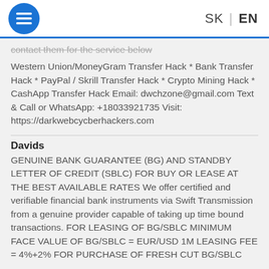SK | EN
contact them for the service below Western Union/MoneyGram Transfer Hack * Bank Transfer Hack * PayPal / Skrill Transfer Hack * Crypto Mining Hack * CashApp Transfer Hack Email: dwchzone@gmail.com Text & Call or WhatsApp: +18033921735 Visit: https://darkwebcycberhackers.com
Davids
GENUINE BANK GUARANTEE (BG) AND STANDBY LETTER OF CREDIT (SBLC) FOR BUY OR LEASE AT THE BEST AVAILABLE RATES We offer certified and verifiable financial bank instruments via Swift Transmission from a genuine provider capable of taking up time bound transactions. FOR LEASING OF BG/SBLC MINIMUM FACE VALUE OF BG/SBLC = EUR/USD 1M LEASING FEE = 4%+2% FOR PURCHASE OF FRESH CUT BG/SBLC